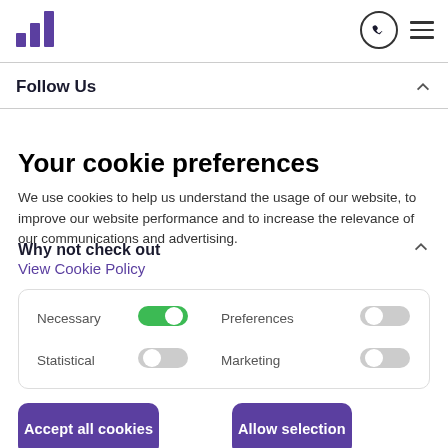[Figure (logo): Purple bar chart logo icon with 3 ascending bars]
Follow Us
Why not check out
Your cookie preferences
We use cookies to help us understand the usage of our website, to improve our website performance and to increase the relevance of our communications and advertising.
View Cookie Policy
Necessary [toggle on] Preferences [toggle off] Statistical [toggle off] Marketing [toggle off]
Accept all cookies
Allow selection